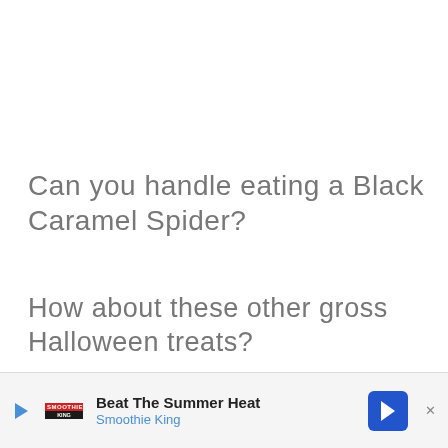Can you handle eating a Black Caramel Spider?
How about these other gross Halloween treats?
[Figure (photo): Two images: left shows spider candy on orange background, right shows purple/blue decorative Halloween item with white accents]
[Figure (infographic): Advertisement banner: Beat The Summer Heat - Smoothie King with blue arrow icon and logo]